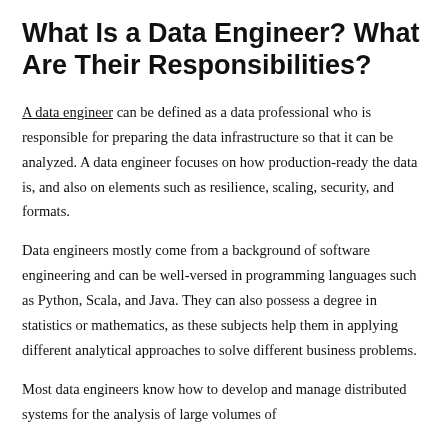What Is a Data Engineer? What Are Their Responsibilities?
A data engineer can be defined as a data professional who is responsible for preparing the data infrastructure so that it can be analyzed. A data engineer focuses on how production-ready the data is, and also on elements such as resilience, scaling, security, and formats.
Data engineers mostly come from a background of software engineering and can be well-versed in programming languages such as Python, Scala, and Java. They can also possess a degree in statistics or mathematics, as these subjects help them in applying different analytical approaches to solve different business problems.
Most data engineers know how to develop and manage distributed systems for the analysis of large volumes of